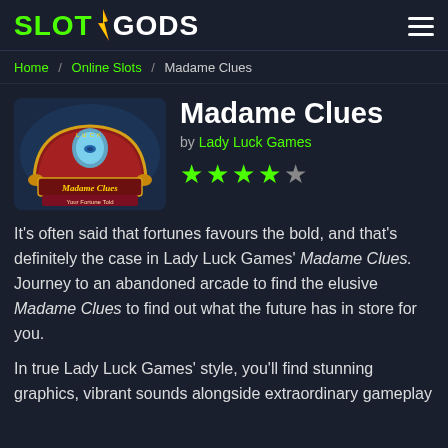SLOTGODS
Home / Online Slots / Madame Clues
[Figure (screenshot): Madame Clues slot game logo showing a red decorative arch with a blue hand symbol and 'Madame Clues' text on a dark atmospheric background]
Madame Clues
by Lady Luck Games
4 out of 5 stars rating
It's often said that fortunes favours the bold, and that's definitely the case in Lady Luck Games' Madame Clues. Journey to an abandoned arcade to find the elusive Madame Clues to find out what the future has in store for you.
In true Lady Luck Games' style, you'll find stunning graphics, vibrant sounds alongside extraordinary gameplay